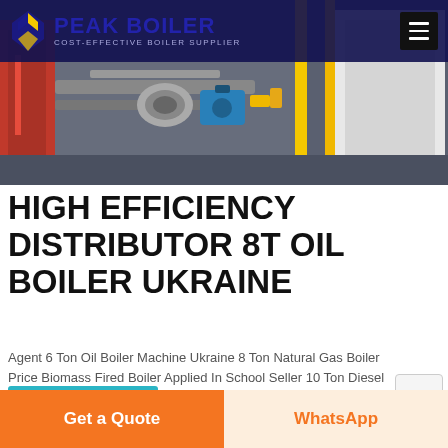PEAK BOILER — COST-EFFECTIVE BOILER SUPPLIER
[Figure (photo): Industrial boiler equipment showing red and yellow machinery with pipes and valves in an industrial setting]
HIGH EFFICIENCY DISTRIBUTOR 8T OIL BOILER UKRAINE
Agent 6 Ton Oil Boiler Machine Ukraine 8 Ton Natural Gas Boiler Price Biomass Fired Boiler Applied In School Seller 10 Ton Diesel Hot Water Boiler DZH fuel coal wood manual steam boiler manual feeding coal boiler Agent - unodostres.pl 0.1-50Ton Coal
learn More
Get a Quote
WhatsApp